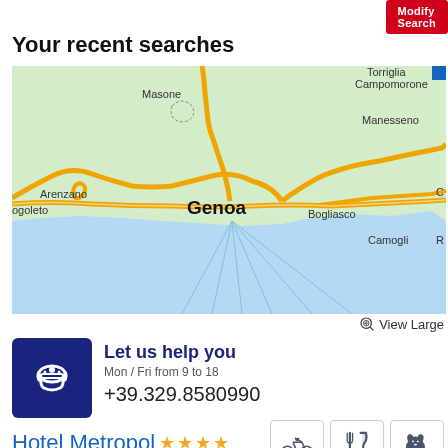Modify Search
Your recent searches
[Figure (map): Map of Genoa and surrounding area including Masone, Campomorone, Torriglia, Manesseno, Arenzano, Bogoleto, Bogliasco, Camogli labels. Shows road network and the Gulf of Genoa in blue.]
View Large
Let us help you
Mon / Fri from 9 to 18
+39.329.8580990
Hotel Metropol ★★★★
Diano Marina, Imperia, Liguria